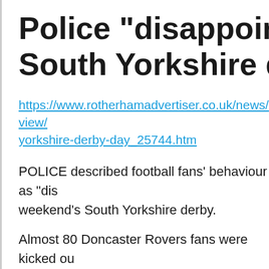Police "disappointed" South Yorkshire derby
https://www.rotherhamadvertiser.co.uk/news/view/yorkshire-derby-day_25744.htm
POLICE described football fans' behaviour as "dis weekend's South Yorkshire derby.
Almost 80 Doncaster Rovers fans were kicked ou hours before their game against Rotherham Unite There was more trouble during the game, with sev stewards, fighting between fans in the home end keep Doncaster and Rotherham fans apart outsio